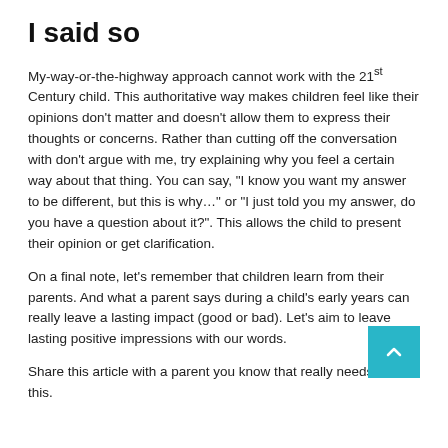I said so
My-way-or-the-highway approach cannot work with the 21st Century child. This authoritative way makes children feel like their opinions don't matter and doesn't allow them to express their thoughts or concerns. Rather than cutting off the conversation with don't argue with me, try explaining why you feel a certain way about that thing. You can say, "I know you want my answer to be different, but this is why…" or "I just told you my answer, do you have a question about it?".  This allows the child to present their opinion or get clarification.
On a final note, let's remember that children learn from their parents. And what a parent says during a child's early years can really leave a lasting impact (good or bad). Let's aim to leave lasting positive impressions with our words.
Share this article with a parent you know that really needs to hear this.